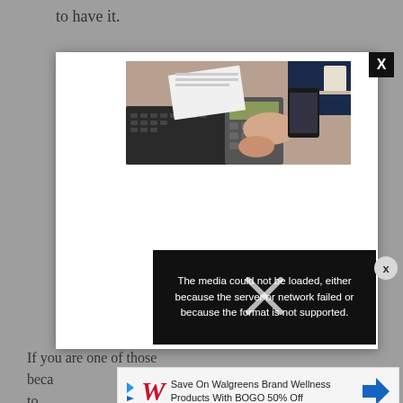to have it.
[Figure (screenshot): A modal/popup overlay on a webpage showing an office photo (person using laptop and calculator) at the top, and a black video error box at the bottom reading 'The media could not be loaded, either because the server or network failed or because the format is not supported.' with an X close button.]
If you are one of those beca... h is to...
[Figure (other): Walgreens advertisement banner: 'Save On Walgreens Brand Wellness Products With BOGO 50% Off' with Walgreens logo and blue navigation arrow icon.]